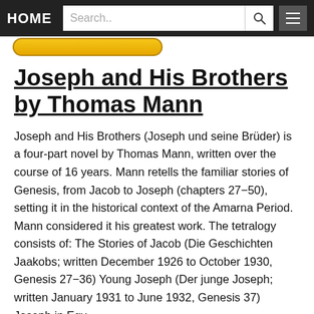HOME  Search..
Joseph and His Brothers by Thomas Mann
Joseph and His Brothers (Joseph und seine Brüder) is a four-part novel by Thomas Mann, written over the course of 16 years. Mann retells the familiar stories of Genesis, from Jacob to Joseph (chapters 27–50), setting it in the historical context of the Amarna Period. Mann considered it his greatest work. The tetralogy consists of: The Stories of Jacob (Die Geschichten Jaakobs; written December 1926 to October 1930, Genesis 27–36) Young Joseph (Der junge Joseph; written January 1931 to June 1932, Genesis 37) Joseph in Egy
Read More